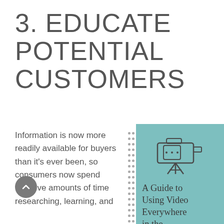3. EDUCATE POTENTIAL CUSTOMERS
Information is now more readily available for buyers than it's ever been, so consumers now spend massive amounts of time researching, learning, and
[Figure (illustration): Teal/turquoise box containing a video camera icon (outline/line drawing style) and text: 'A Guide to Using Video Everywhere in the Buyer's Journey']